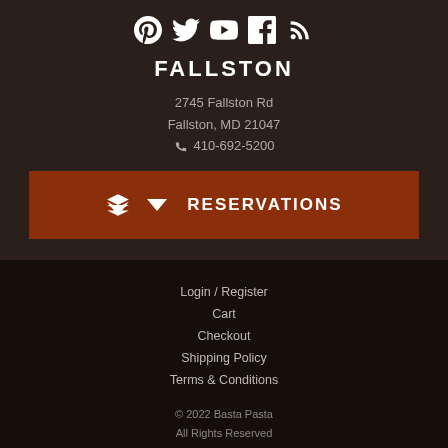[Figure (infographic): Social media icons row: Pinterest, Twitter, YouTube, Facebook, RSS feed - white icons on dark brown background]
FALLSTON
2745 Fallston Rd
Fallston, MD 21047
☎ 410-692-5200
RESERVATIONS
Login / Register
Cart
Checkout
Shipping Policy
Terms & Conditions
© 2022 Basta Pasta
All Rights Reserved
Login
Website Design & Marketing provided by Adventure Web Interactive